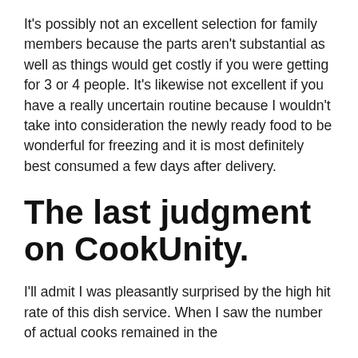It's possibly not an excellent selection for family members because the parts aren't substantial as well as things would get costly if you were getting for 3 or 4 people. It's likewise not excellent if you have a really uncertain routine because I wouldn't take into consideration the newly ready food to be wonderful for freezing and it is most definitely best consumed a few days after delivery.
The last judgment on CookUnity.
I'll admit I was pleasantly surprised by the high hit rate of this dish service. When I saw the number of actual cooks remained in the